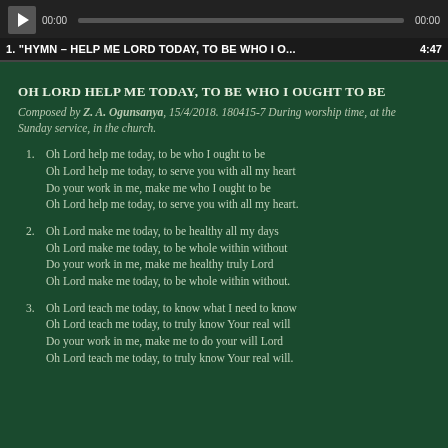[Figure (screenshot): Audio media player with play button, progress bar, time display showing 00:00, and track title '1. "HYMN - HELP ME LORD TODAY, TO BE WHO I O...  4:47']
OH LORD HELP ME TODAY, TO BE WHO I OUGHT TO BE
Composed by Z. A. Ogunsanya, 15/4/2018. 180415-7 During worship time, at the Sunday service, in the church.
1. Oh Lord help me today, to be who I ought to be
   Oh Lord help me today, to serve you with all my heart
   Do your work in me, make me who I ought to be
   Oh Lord help me today, to serve you with all my heart.
2. Oh Lord make me today, to be healthy all my days
   Oh Lord make me today, to be whole within without
   Do your work in me, make me healthy truly Lord
   Oh Lord make me today, to be whole within without.
3. Oh Lord teach me today, to know what I need to know
   Oh Lord teach me today, to truly know Your real will
   Do your work in me, make me to do your will Lord
   Oh Lord teach me today, to truly know Your real will.